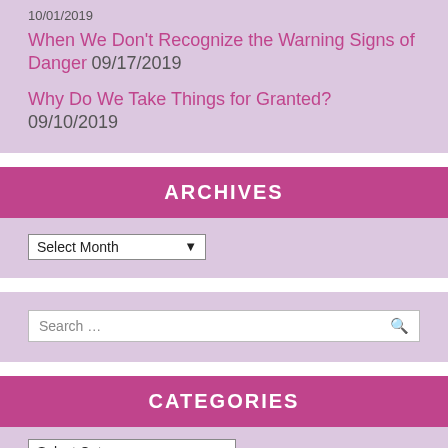10/01/2019
When We Don't Recognize the Warning Signs of Danger 09/17/2019
Why Do We Take Things for Granted? 09/10/2019
ARCHIVES
Select Month
Search ...
CATEGORIES